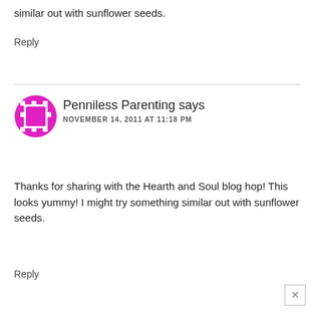similar out with sunflower seeds.
Reply
[Figure (illustration): Pink/magenta film reel icon used as avatar]
Penniless Parenting says
NOVEMBER 14, 2011 AT 11:18 PM
Thanks for sharing with the Hearth and Soul blog hop! This looks yummy! I might try something similar out with sunflower seeds.
Reply